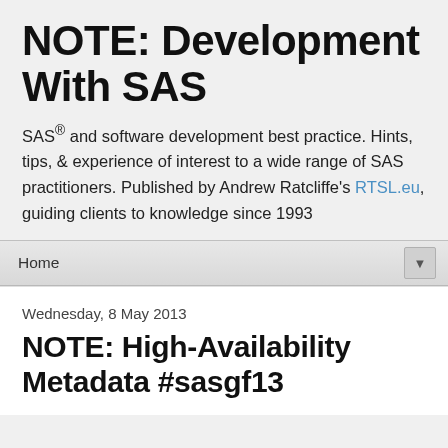NOTE: Development With SAS
SAS® and software development best practice. Hints, tips, & experience of interest to a wide range of SAS practitioners. Published by Andrew Ratcliffe's RTSL.eu, guiding clients to knowledge since 1993
Home ▼
Wednesday, 8 May 2013
NOTE: High-Availability Metadata #sasgf13